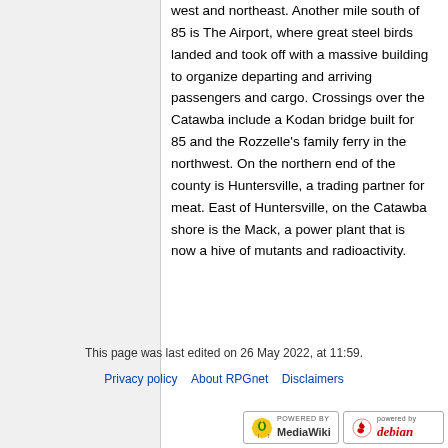west and northeast. Another mile south of 85 is The Airport, where great steel birds landed and took off with a massive building to organize departing and arriving passengers and cargo. Crossings over the Catawba include a Kodan bridge built for 85 and the Rozzelle's family ferry in the northwest. On the northern end of the county is Huntersville, a trading partner for meat. East of Huntersville, on the Catawba shore is the Mack, a power plant that is now a hive of mutants and radioactivity.
This page was last edited on 26 May 2022, at 11:59.
Privacy policy · About RPGnet · Disclaimers
[Figure (logo): Powered by MediaWiki badge and Powered by Debian badge]